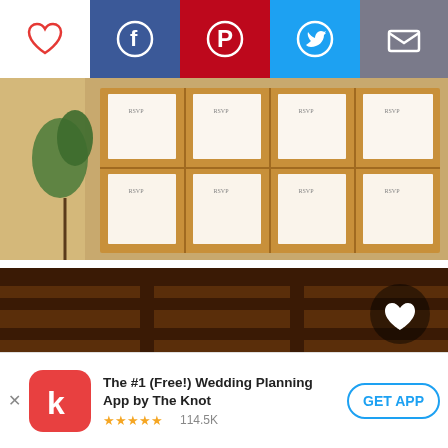[Figure (screenshot): Mobile app toolbar with heart (favorite), Facebook, Pinterest, Twitter, and email share icons on colored backgrounds]
[Figure (photo): Photo of RSVP cards displayed on a wooden board grid in a bright indoor setting with plant in background]
[Figure (photo): Photo of a rustic wooden barn interior with stone fireplace and greenery centerpiece, heart icon overlay in top-right]
The #1 (Free!) Wedding Planning App by The Knot ★★★★★ 114.5K GET APP